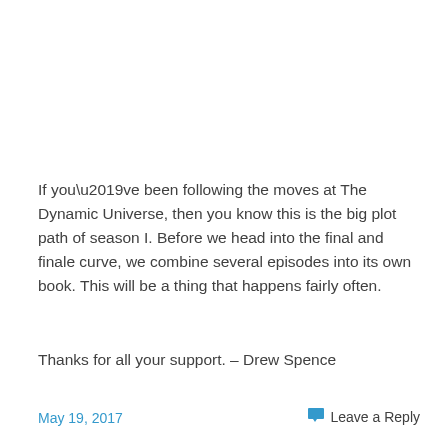If you’ve been following the moves at The Dynamic Universe, then you know this is the big plot path of season I. Before we head into the final and finale curve, we combine several episodes into its own book. This will be a thing that happens fairly often.
Thanks for all your support. – Drew Spence
May 19, 2017   Leave a Reply